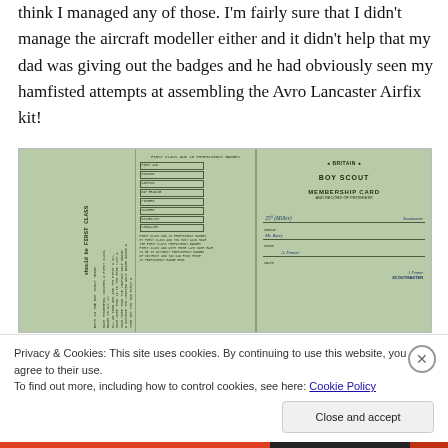think I managed any of those. I'm fairly sure that I didn't manage the aircraft modeller either and it didn't help that my dad was giving out the badges and he had obviously seen my hamfisted attempts at assembling the Avro Lancaster Airfix kit!
[Figure (photo): A Boy Scout membership card and record of progress, shown open and unfolded in three green panels. Left panel shows rotated text listing requirements for First Class Scout Troop. Middle panel contains a table or checklist of proficiency badges. Right panel shows the Boy Scout Membership Card and Record of Progress with handwritten name and details.]
Privacy & Cookies: This site uses cookies. By continuing to use this website, you agree to their use.
To find out more, including how to control cookies, see here: Cookie Policy
Close and accept